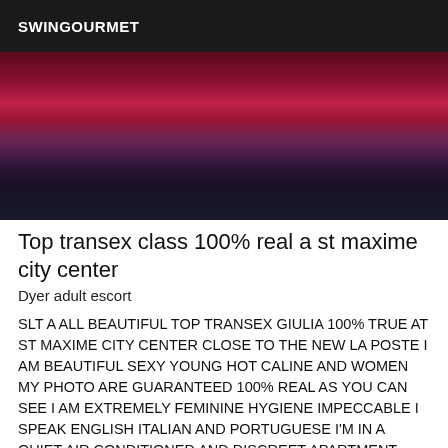SWINGOURMET
[Figure (photo): Partial photo showing a dark background with red and purple tones at the top, likely an interior or person photo cropped at top]
Top transex class 100% real a st maxime city center
Dyer adult escort
SLT A ALL BEAUTIFUL TOP TRANSEX GIULIA 100% TRUE AT ST MAXIME CITY CENTER CLOSE TO THE NEW LA POSTE I AM BEAUTIFUL SEXY YOUNG HOT CALINE AND WOMEN MY PHOTO ARE GUARANTEED 100% REAL AS YOU CAN SEE I AM EXTREMELY FEMININE HYGIENE IMPECCABLE I SPEAK ENGLISH ITALIAN AND PORTUGUESE I'M IN A QUIET AIR CONDITIONED AND DISCREET APARTMENT YOU CAN TAKE A SHOWER I OFFER TO